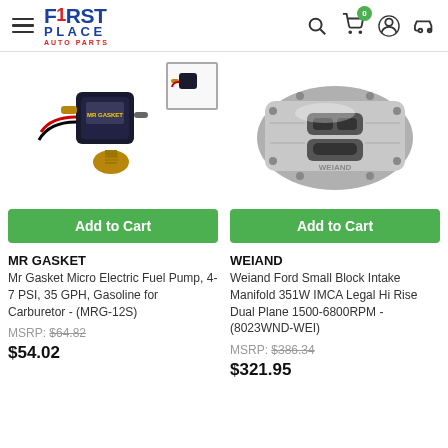First Place Auto Parts - navigation header with logo, search, cart (0), account, vehicle icons
[Figure (photo): Mr Gasket Micro Electric Fuel Pump product image with wiring and fitting, plus thumbnail strip]
[Figure (photo): Weiand Ford Small Block Intake Manifold 351W product image - silver aluminum manifold top view]
Add to Cart
Add to Cart
MR GASKET
Mr Gasket Micro Electric Fuel Pump, 4-7 PSI, 35 GPH, Gasoline for Carburetor - (MRG-12S)
MSRP: $64.82
$54.02
WEIAND
Weiand Ford Small Block Intake Manifold 351W IMCA Legal Hi Rise Dual Plane 1500-6800RPM - (8023WND-WEI)
MSRP: $386.34
$321.95